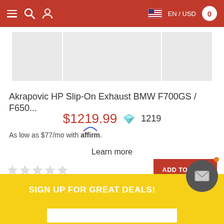EN / USD  0
[Figure (photo): Product image area showing grey background image thumbnails of motorcycle exhaust product]
Akrapovic HP Slip-On Exhaust BMW F700GS / F650...
$1219.99  💎 1219
As low as $77/mo with affirm.
Learn more
★★★★★ (0 stars)  ADD TO CART
SIGN UP FOR GREAT DEALS!